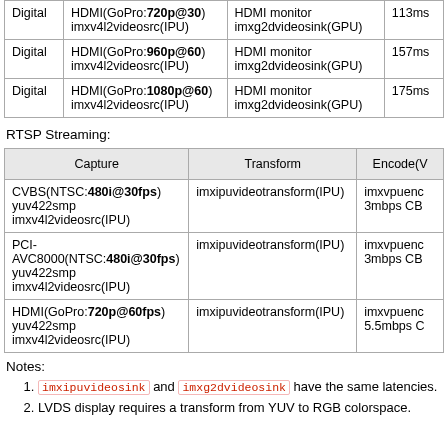|  | Capture | Output | Latency |
| --- | --- | --- | --- |
| Digital | HDMI(GoPro:720p@30) imxv4l2videosrc(IPU) | HDMI monitor imxg2dvideosink(GPU) | 113ms |
| Digital | HDMI(GoPro:960p@60) imxv4l2videosrc(IPU) | HDMI monitor imxg2dvideosink(GPU) | 157ms |
| Digital | HDMI(GoPro:1080p@60) imxv4l2videosrc(IPU) | HDMI monitor imxg2dvideosink(GPU) | 175ms |
RTSP Streaming:
| Capture | Transform | Encode(V... |
| --- | --- | --- |
| CVBS(NTSC:480i@30fps) yuv422smp imxv4l2videosrc(IPU) | imxipuvideotransform(IPU) | imxvpuenc 3mbps CB |
| PCI-AVC8000(NTSC:480i@30fps) yuv422smp imxv4l2videosrc(IPU) | imxipuvideotransform(IPU) | imxvpuenc 3mbps CB |
| HDMI(GoPro:720p@60fps) yuv422smp imxv4l2videosrc(IPU) | imxipuvideotransform(IPU) | imxvpuenc 5.5mbps C |
Notes:
imxipuvideosink and imxg2dvideosink have the same latencies.
LVDS display requires a transform from YUV to RGB colorspace.